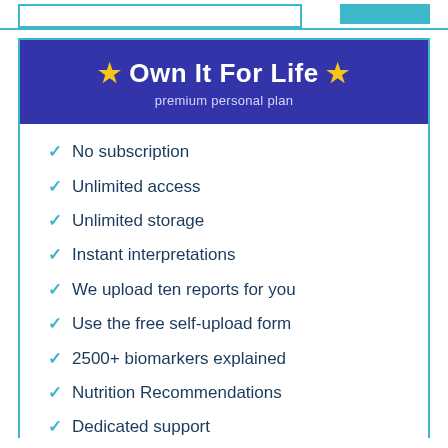★ Own It For Life ★
premium personal plan
No subscription
Unlimited access
Unlimited storage
Instant interpretations
We upload ten reports for you
Use the free self-upload form
2500+ biomarkers explained
Nutrition Recommendations
Dedicated support